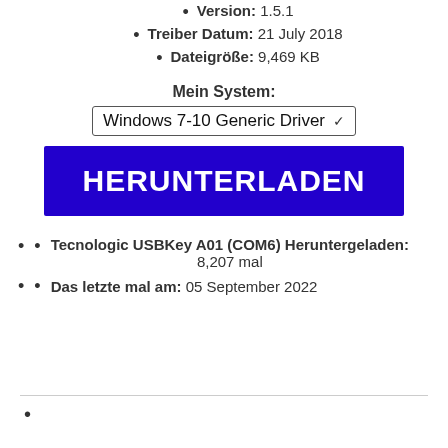Version: 1.5.1
Treiber Datum: 21 July 2018
Dateigröße: 9,469 KB
Mein System:
Windows 7-10 Generic Driver
[Figure (screenshot): Blue download button labeled HERUNTERLADEN]
Tecnologic USBKey A01 (COM6) Heruntergeladen: 8,207 mal
Das letzte mal am: 05 September 2022